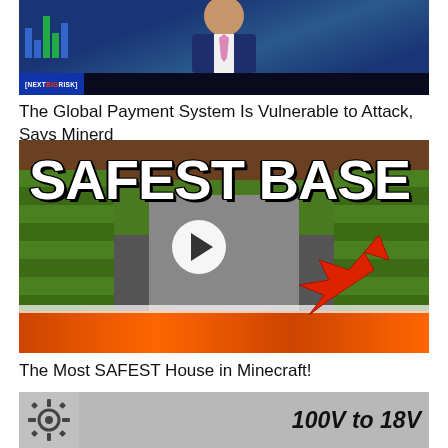[Figure (photo): News anchor in blue suit and pink tie on TV screen with ticker bar showing 'NEXT BIG RISK' and bar graph overlay]
The Global Payment System Is Vulnerable to Attack, Says Minerd
[Figure (screenshot): Minecraft video thumbnail showing 'SAFEST BASE' text over a cactus base with lava floor and a play button circle in center, red arrow pointing to entrance]
The Most SAFEST House in Minecraft!
[Figure (photo): Thumbnail showing a gear logo on left and '100V to 18V' text on right on gray background]